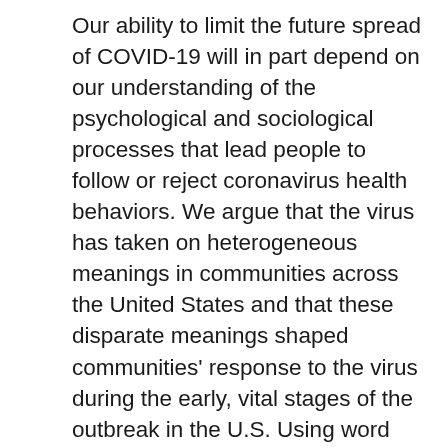Our ability to limit the future spread of COVID-19 will in part depend on our understanding of the psychological and sociological processes that lead people to follow or reject coronavirus health behaviors. We argue that the virus has taken on heterogeneous meanings in communities across the United States and that these disparate meanings shaped communities' response to the virus during the early, vital stages of the outbreak in the U.S. Using word embeddings, we demonstrate that counties where residents socially distanced less on average (as measured by residential mobility) more semantically associated the virus in their COVID discourse with concepts of fraud, the political left, and more benign illnesses like the flu. We also show that the different meanings the virus took on in different communities explains a substantial fraction of what we call the ""Trump Gap", or the empirical tendency for more Trump-supporting counties to socially distance less. This work demonstrates that community-level